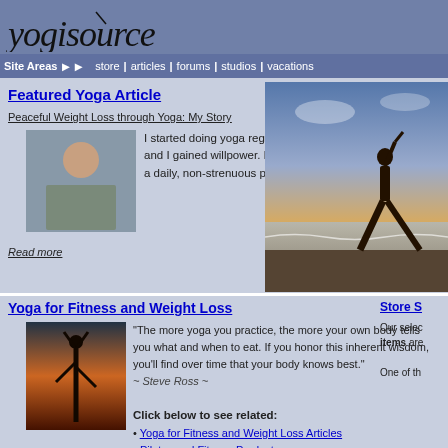[Figure (logo): yogisource logo in stylized font]
Site Areas  ▶▶   store  |  articles  |  forums  |  studios  |  vacations
Featured Yoga Article
Peaceful Weight Loss through Yoga: My Story
[Figure (photo): Person sitting in yoga pose]
I started doing yoga regularly and really felt it change me. My diet changed and I gained willpower. I physically opened and my weight normalized. I did a daily, non-strenuous practice.
Read more
[Figure (photo): Silhouette of person doing yoga warrior pose on beach at sunset]
Yoga for Fitness and Weight Loss
[Figure (photo): Silhouette of person in tree pose at sunset]
"The more yoga you practice, the more your own body tells you what and when to eat. If you honor this inherent wisdom, you'll find over time that your body knows best."
~ Steve Ross ~

Click below to see related:
• Yoga for Fitness and Weight Loss Articles
• Pilates and Fitness Products
Store S
Our selection of items are
One of the